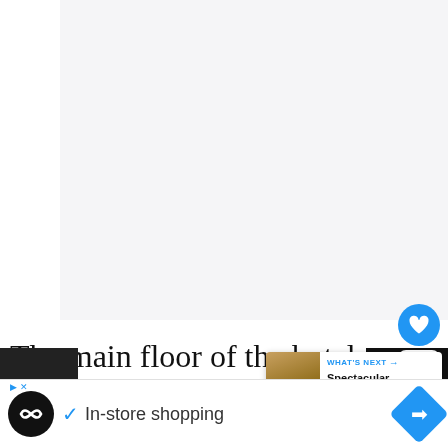[Figure (photo): Large light gray placeholder image area occupying the upper portion of the page]
The main floor of the hotel include restaurant where the design elements carry
[Figure (screenshot): WHAT'S NEXT overlay card with thumbnail image showing 'Spectacular Cape Town...' article teaser]
[Figure (other): Advertisement bar at bottom: infinity logo, checkmark, 'In-store shopping' text, blue diamond navigation icon]